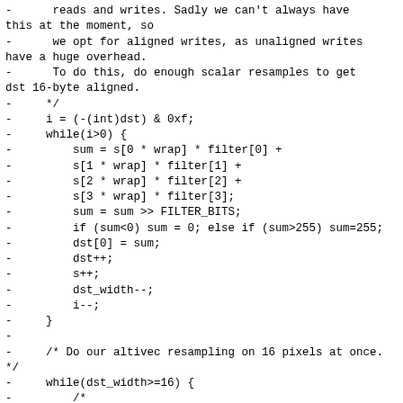-      reads and writes. Sadly we can't always have this at the moment, so
-      we opt for aligned writes, as unaligned writes have a huge overhead.
-      To do this, do enough scalar resamples to get dst 16-byte aligned.
-     */
-     i = (-(int)dst) & 0xf;
-     while(i>0) {
-         sum = s[0 * wrap] * filter[0] +
-         s[1 * wrap] * filter[1] +
-         s[2 * wrap] * filter[2] +
-         s[3 * wrap] * filter[3];
-         sum = sum >> FILTER_BITS;
-         if (sum<0) sum = 0; else if (sum>255) sum=255;
-         dst[0] = sum;
-         dst++;
-         s++;
-         dst_width--;
-         i--;
-     }
-
-     /* Do our altivec resampling on 16 pixels at once.
*/
-     while(dst_width>=16) {
-         /*
-             Read 16 (potentially unaligned) bytes from each of
-             4 lines into 4 vectors, and split them into shorts.